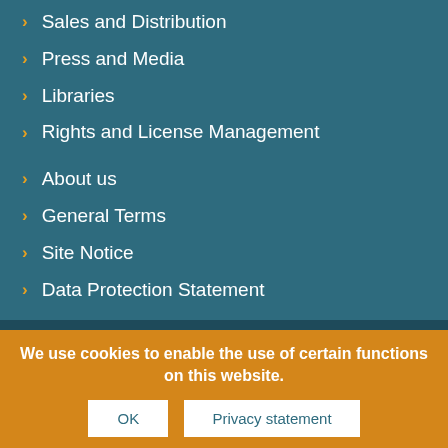> Sales and Distribution
> Press and Media
> Libraries
> Rights and License Management
> About us
> General Terms
> Site Notice
> Data Protection Statement
We use cookies to enable the use of certain functions on this website.
OK
Privacy statement